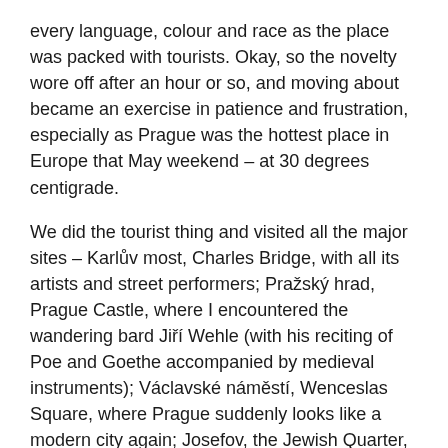every language, colour and race as the place was packed with tourists. Okay, so the novelty wore off after an hour or so, and moving about became an exercise in patience and frustration, especially as Prague was the hottest place in Europe that May weekend – at 30 degrees centigrade.
We did the tourist thing and visited all the major sites – Karlův most, Charles Bridge, with all its artists and street performers; Pražský hrad, Prague Castle, where I encountered the wandering bard Jiří Wehle (with his reciting of Poe and Goethe accompanied by medieval instruments); Václavské náměstí, Wenceslas Square, where Prague suddenly looks like a modern city again; Josefov, the Jewish Quarter, with its many old synagogues and the exceptionally wealthy shopping street, Pařížská; and many, many other locations.
However, it quickly became apparent that Prague functions on several levels and it's certainly not shy of its history. In fact, two of the major themes in western occultism are promoted openly –